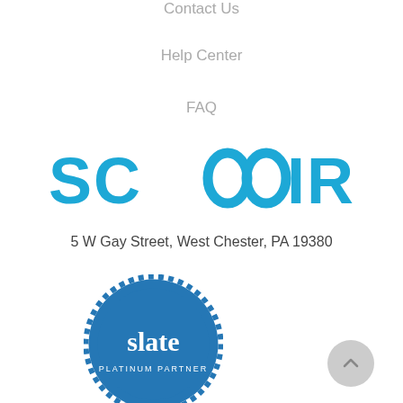Contact Us
Help Center
FAQ
[Figure (logo): SCOIR logo in blue bold text with stylized double-O]
5 W Gay Street, West Chester, PA 19380
[Figure (logo): Slate Platinum Partner badge - blue circular seal badge]
[Figure (other): Back to top button - grey circle with upward chevron arrow]